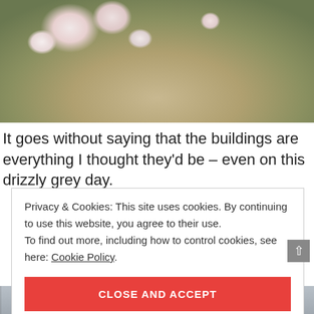[Figure (photo): Close-up photograph of cherry blossom or similar flowering tree branches with white and pink blossoms, with a blurred stone building with Gothic architectural details visible in the background.]
It goes without saying that the buildings are everything I thought they'd be – even on this drizzly grey day.
Privacy & Cookies: This site uses cookies. By continuing to use this website, you agree to their use.
To find out more, including how to control cookies, see here: Cookie Policy
CLOSE AND ACCEPT
[Figure (photo): Bottom strip of a street scene photograph showing buildings and a town/city streetscape.]